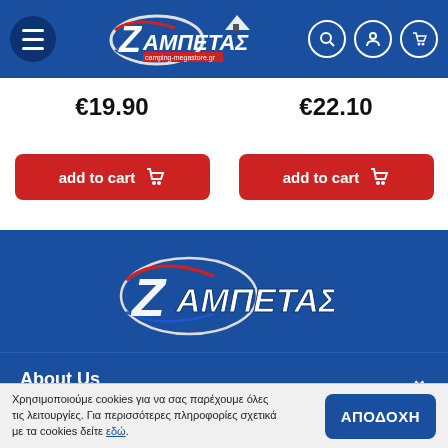[Figure (logo): Ζαμπέτας camping-megastore.gr logo in header]
€19.90
€22.10
add to cart
add to cart
[Figure (logo): Ζαμπέτας large logo in footer]
About Us
My Account
Χρησιμοποιούμε cookies για να σας παρέχουμε όλες τις λειτουργίες. Για περισσότερες πληροφορίες σχετικά με τα cookies δείτε εδώ.
ΑΠΟΔΟΧΗ